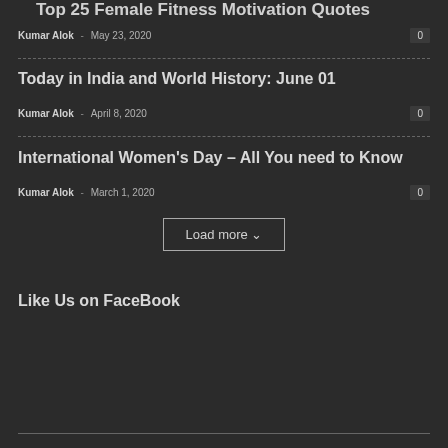Top 25 Female Fitness Motivation Quotes
Kumar Alok - May 23, 2020   0
Today in India and World History: June 01
Kumar Alok - April 8, 2020   0
International Women's Day – All You need to Know
Kumar Alok - March 1, 2020   0
Load more
Like Us on FaceBook